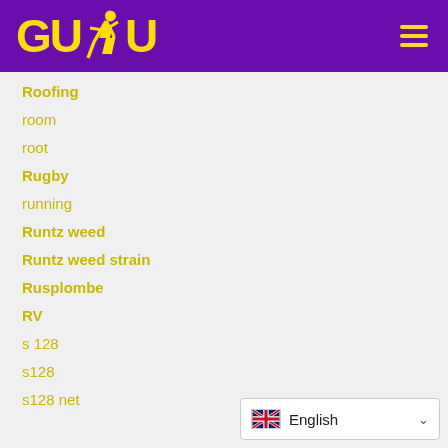[Figure (logo): GUDU logo with yellow text and running figure on purple background, with hamburger menu icon]
Roofing
room
root
Rugby
running
Runtz weed
Runtz weed strain
Rusplombe
RV
s 128
s128
s128 net
[Figure (other): Language selector dropdown showing UK flag and 'English' text with chevron]